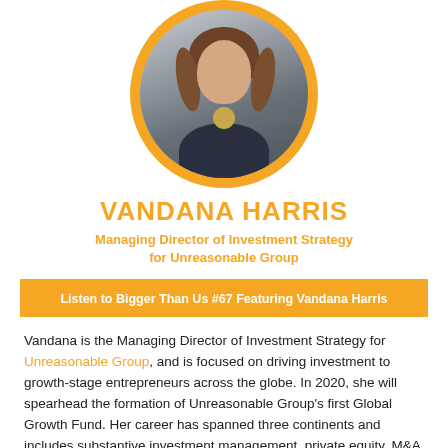[Figure (photo): Circular portrait photo of Vandana Harris with orange border, woman with long brown hair wearing a dark top and gold necklace]
VANDANA HARRIS
Managing Director of Investment Strategy for Unreasonable Group
Listen to Bigger Than Us #67 Featuring Vandana Harris
Vandana is the Managing Director of Investment Strategy for Unreasonable Group, and is focused on driving investment to growth-stage entrepreneurs across the globe. In 2020, she will spearhead the formation of Unreasonable Group's first Global Growth Fund. Her career has spanned three continents and includes substantive investment management, private equity, M&A and cross-border experience. Vandana has experience working in East Africa,